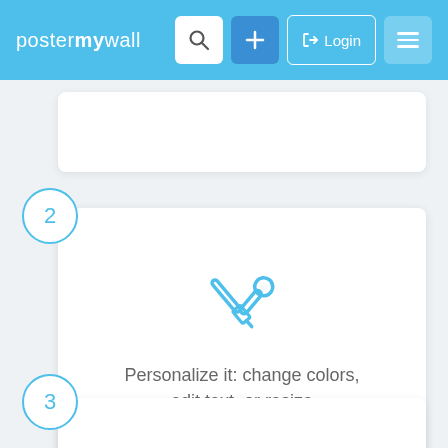postermywall — Login
2
[Figure (illustration): Tools/wrench icon in blue, crossed screwdriver and wrench]
Personalize it: change colors, edit text, or resize
3